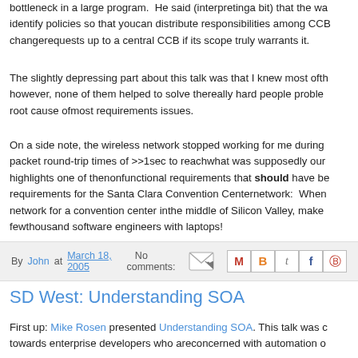bottleneck in a large program. He said (interpretinga bit) that the way to identify policies so that youcan distribute responsibilities among CCB changerequests up to a central CCB if its scope truly warrants it.
The slightly depressing part about this talk was that I knew most ofthe however, none of them helped to solve thereally hard people problems root cause ofmost requirements issues.
On a side note, the wireless network stopped working for me during packet round-trip times of >>1sec to reachwhat was supposedly our highlights one of thenonfunctional requirements that should have be requirements for the Santa Clara Convention Centernetwork: When network for a convention center inthe middle of Silicon Valley, make fewthousand software engineers with laptops!
By John at March 18, 2005  No comments:
SD West: Understanding SOA
First up: Mike Rosen presented Understanding SOA. This talk was c towards enterprise developers who areconcerned with automation o